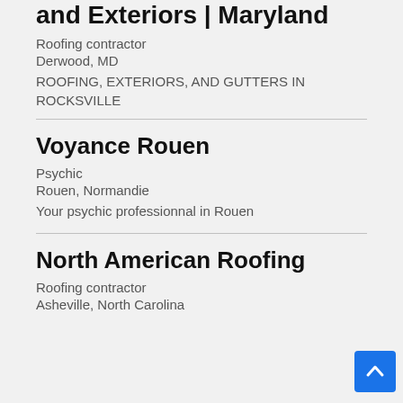and Exteriors | Maryland
Roofing contractor
Derwood, MD
ROOFING, EXTERIORS, AND GUTTERS IN ROCKSVILLE
Voyance Rouen
Psychic
Rouen, Normandie
Your psychic professionnal in Rouen
North American Roofing
Roofing contractor
Asheville, North Carolina